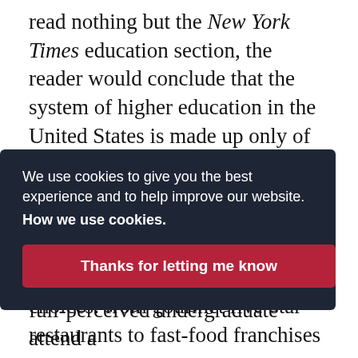read nothing but the New York Times education section, the reader would conclude that the system of higher education in the United States is made up only of selective liberal arts colleges. But as Koch correctly notes, "the higher education market now resembles the American restaurant market," with a wide range of choices: from gourmet five-star restaurants to fast-food franchises to
We use cookies to give you the best experience and to help improve our website. How we use cookies.
Thanks for letting me know
full-perceived undergraduate attend a